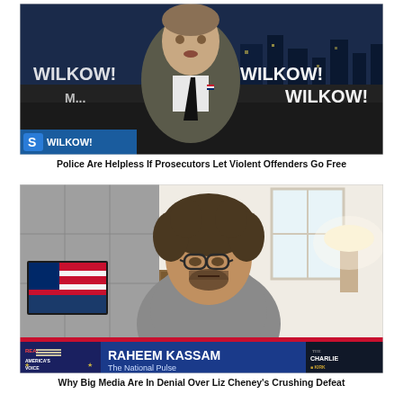[Figure (screenshot): TV screenshot of the Wilkow! show on Blaze TV. A man in a grey suit with a black tie sits at a desk. City skyline visible in background. Lower-third graphics show 'WILKOW!' branding multiple times. 'S WILKOW!' logo in bottom left corner.]
Police Are Helpless If Prosecutors Let Violent Offenders Go Free
[Figure (screenshot): Video call screenshot showing Raheem Kassam from The National Pulse appearing on The Charlie Kirk Show on Real America's Voice. Man with curly hair and glasses in a grey shirt is visible against a home office background. Blue lower-third chyron reads 'RAHEEM KASSAM' and 'The National Pulse'. Real America's Voice and Charlie Kirk Show logos visible.]
Why Big Media Are In Denial Over Liz Cheney's Crushing Defeat